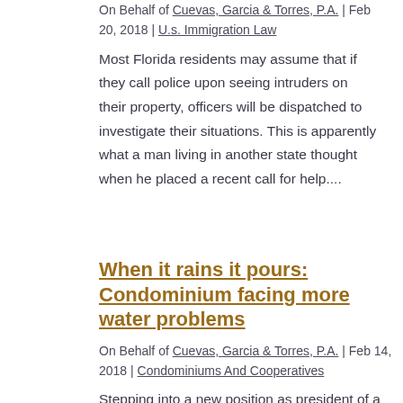On Behalf of Cuevas, Garcia & Torres, P.A. | Feb 20, 2018 | U.s. Immigration Law
Most Florida residents may assume that if they call police upon seeing intruders on their property, officers will be dispatched to investigate their situations. This is apparently what a man living in another state thought when he placed a recent call for help....
When it rains it pours: Condominium facing more water problems
On Behalf of Cuevas, Garcia & Torres, P.A. | Feb 14, 2018 | Condominiums And Cooperatives
Stepping into a new position as president of a commercial complex with a long list of existing complaints and liens against the property would